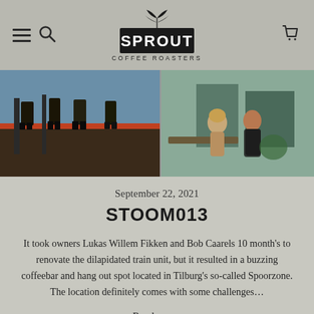Sprout Coffee Roasters — navigation header with hamburger menu, search icon, logo, and cart icon
[Figure (photo): Outdoor photo showing people at a train-related venue; left side shows boots/legs on a raised platform, right side shows two people sitting and talking near industrial equipment]
September 22, 2021
STOOM013
It took owners Lukas Willem Fikken and Bob Caarels 10 month's to renovate the dilapidated train unit, but it resulted in a buzzing coffeebar and hang out spot located in Tilburg's so-called Spoorzone. The location definitely comes with some challenges…
Read now >